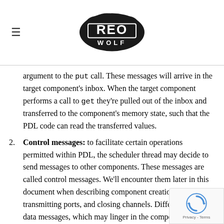Reo Wolf logo with hamburger menu
argument to the put call. These messages will arrive in the target component's inbox. When the target component performs a call to get they're pulled out of the inbox and transferred to the component's memory state, such that the PDL code can read the transferred values.
2. Control messages: to facilitate certain operations permitted within PDL, the scheduler thread may decide to send messages to other components. These messages are called control messages. We'll encounter them later in this document when describing component creation, transmitting ports, and closing channels. Different from data messages, which may linger in the component's inbox for a while, control messages are handled by the receiving component immediately. This is important for various control